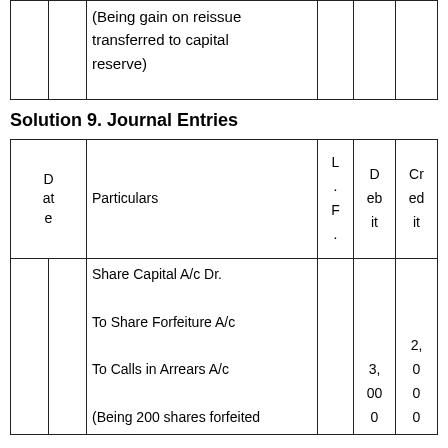| Date | Particulars | L.F. | Debit | Credit |
| --- | --- | --- | --- | --- |
|  | (Being gain on reissue transferred to capital reserve) |  |  |  |
Solution 9. Journal Entries
| Date | Particulars | L.F. | Debit | Credit |
| --- | --- | --- | --- | --- |
| D at e | Particulars | L . F . | D eb it | Cr ed it |
|  | Share Capital A/c Dr.
To Share Forfeiture A/c
To Calls in Arrears A/c
(Being 200 shares forfeited |  | 3, 00 0 | 2, 0 0 0 |